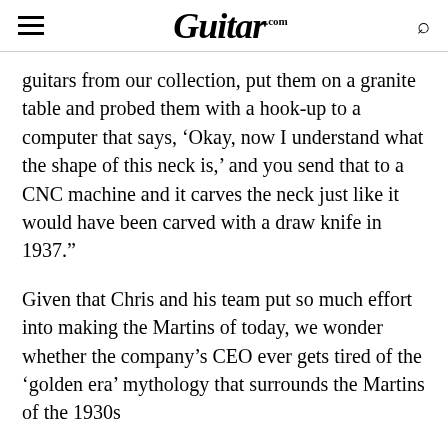Guitar.com
guitars from our collection, put them on a granite table and probed them with a hook-up to a computer that says, ‘Okay, now I understand what the shape of this neck is,’ and you send that to a CNC machine and it carves the neck just like it would have been carved with a draw knife in 1937.”
Given that Chris and his team put so much effort into making the Martins of today, we wonder whether the company’s CEO ever gets tired of the ‘golden era’ mythology that surrounds the Martins of the 1930s